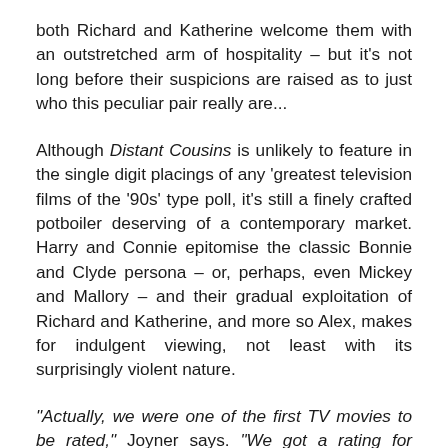both Richard and Katherine welcome them with an outstretched arm of hospitality – but it's not long before their suspicions are raised as to just who this peculiar pair really are...
Although Distant Cousins is unlikely to feature in the single digit placings of any 'greatest television films of the '90s' type poll, it's still a finely crafted potboiler deserving of a contemporary market. Harry and Connie epitomise the classic Bonnie and Clyde persona – or, perhaps, even Mickey and Mallory – and their gradual exploitation of Richard and Katherine, and more so Alex, makes for indulgent viewing, not least with its surprisingly violent nature.
"Actually, we were one of the first TV movies to be rated," Joyner says. "We got a rating for violence, and an audience warning too! It was kind of a whole new deal. The network left it all in as well!! Fighting, burning